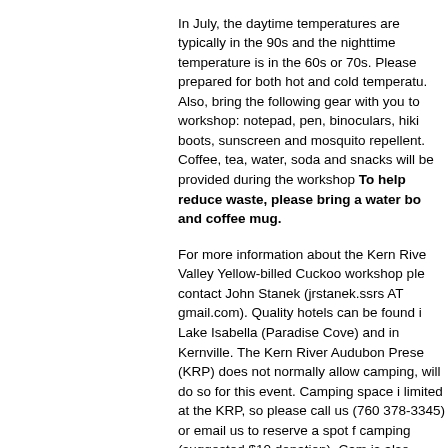In July, the daytime temperatures are typically in the 90s and the nighttime temperature is in the 60s or 70s. Please prepared for both hot and cold temperatures. Also, bring the following gear with you to workshop: notepad, pen, binoculars, hiking boots, sunscreen and mosquito repellent. Coffee, tea, water, soda and snacks will be provided during the workshop To help reduce waste, please bring a water bottle and coffee mug.
For more information about the Kern River Valley Yellow-billed Cuckoo workshop please contact John Stanek (jrstanek.ssrs AT gmail.com). Quality hotels can be found in Lake Isabella (Paradise Cove) and in Kernville. The Kern River Audubon Preserve (KRP) does not normally allow camping, will do so for this event. Camping space is limited at the KRP, so please call us (760-378-3345) or email us to reserve a spot for camping (suggested $10 donation). Camping is also available at various locations around the lake.